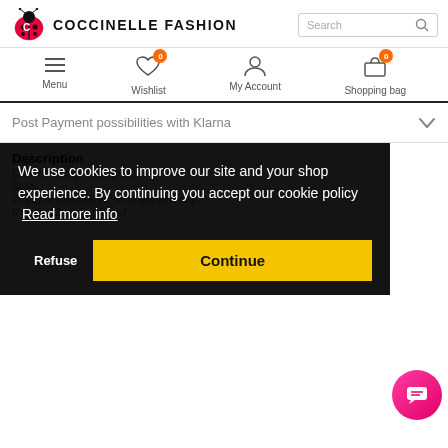COCCINELLE FASHION — Search bar
Menu | Wishlist 0 | My Account | Shopping bag 0
Post Payment possibilities with Klarna
Description
We use cookies to improve our site and your shop experience. By continuing you accept our cookie policy  Read more info
Refuse | Continue
6 mnd | 12 mnd | 24 mnd